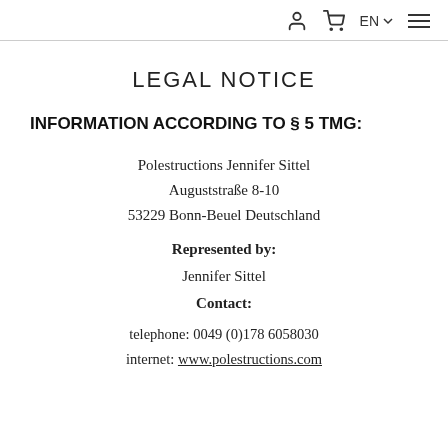person icon, cart icon, EN, menu icon
LEGAL NOTICE
INFORMATION ACCORDING TO § 5 TMG:
Polestructions Jennifer Sittel
Auguststraße 8-10
53229 Bonn-Beuel Deutschland
Represented by:
Jennifer Sittel
Contact:
telephone: 0049 (0)178 6058030
internet: www.polestructions.com